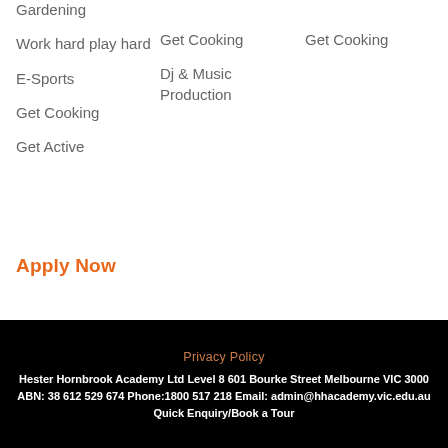Gardening
Work hard play hard
E-Sports
Get Cooking
Get Active
Get Cooking
Dj & Music Production
Get Cooking
Apply Now
Privacy Policy
Hester Hornbrook Academy Ltd Level 8 601 Bourke Street Melbourne VIC 3000 ABN: 38 612 529 674 Phone:1800 517 218 Email: admin@hhacademy.vic.edu.au Quick Enquiry/Book a Tour